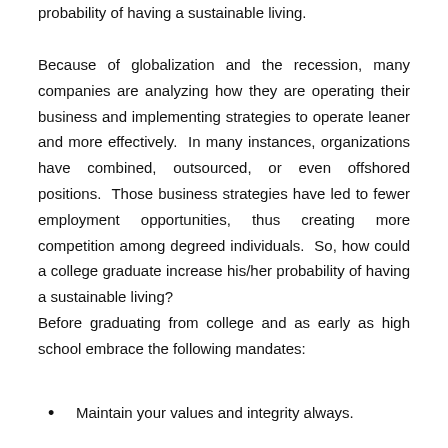probability of having a sustainable living.
Because of globalization and the recession, many companies are analyzing how they are operating their business and implementing strategies to operate leaner and more effectively.  In many instances, organizations have combined, outsourced, or even offshored positions.  Those business strategies have led to fewer employment opportunities, thus creating more competition among degreed individuals.  So, how could a college graduate increase his/her probability of having a sustainable living?
Before graduating from college and as early as high school embrace the following mandates:
Maintain your values and integrity always.